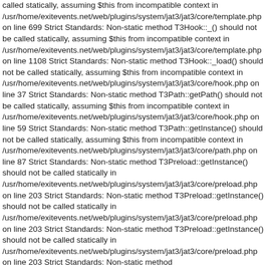called statically, assuming $this from incompatible context in /usr/home/exitevents.net/web/plugins/system/jat3/jat3/core/template.php on line 699 Strict Standards: Non-static method T3Hook::_() should not be called statically, assuming $this from incompatible context in /usr/home/exitevents.net/web/plugins/system/jat3/jat3/core/template.php on line 1108 Strict Standards: Non-static method T3Hook::_load() should not be called statically, assuming $this from incompatible context in /usr/home/exitevents.net/web/plugins/system/jat3/jat3/core/hook.php on line 37 Strict Standards: Non-static method T3Path::getPath() should not be called statically, assuming $this from incompatible context in /usr/home/exitevents.net/web/plugins/system/jat3/jat3/core/hook.php on line 59 Strict Standards: Non-static method T3Path::getInstance() should not be called statically, assuming $this from incompatible context in /usr/home/exitevents.net/web/plugins/system/jat3/jat3/core/path.php on line 87 Strict Standards: Non-static method T3Preload::getInstance() should not be called statically in /usr/home/exitevents.net/web/plugins/system/jat3/jat3/core/preload.php on line 203 Strict Standards: Non-static method T3Preload::getInstance() should not be called statically in /usr/home/exitevents.net/web/plugins/system/jat3/jat3/core/preload.php on line 203 Strict Standards: Non-static method T3Preload::getInstance() should not be called statically in /usr/home/exitevents.net/web/plugins/system/jat3/jat3/core/preload.php on line 203 Strict Standards: Non-static method T3Common::get_active_themes() should not be called statically, assuming $this from incompatible context in /usr/home/exitevents.net/web/plugins/system/jat3/jat3/core/hook.php on line 39 Strict Standards: Non-static method T3Common::detect() should not be called